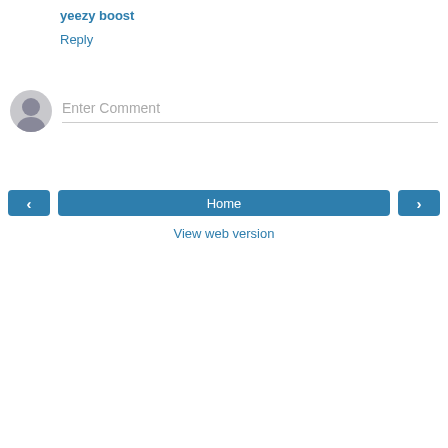yeezy boost
Reply
Enter Comment
Home
View web version